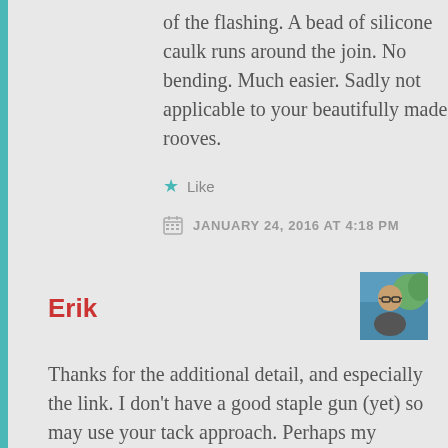of the flashing. A bead of silicone caulk runs around the join. No bending. Much easier. Sadly not applicable to your beautifully made rooves.
Like
JANUARY 24, 2016 AT 4:18 PM
Erik
[Figure (photo): Avatar photo of Erik, a man wearing glasses outdoors with blue/green background]
Thanks for the additional detail, and especially the link. I don’t have a good staple gun (yet) so may use your tack approach. Perhaps my February project.